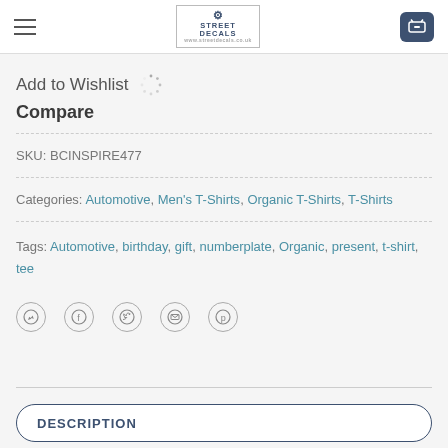[Figure (logo): Street Decals logo with shopping cart button and hamburger menu in page header]
Add to Wishlist
Compare
SKU: BCINSPIRE477
Categories: Automotive, Men's T-Shirts, Organic T-Shirts, T-Shirts
Tags: Automotive, birthday, gift, numberplate, Organic, present, t-shirt, tee
[Figure (infographic): Social sharing icons: WhatsApp, Facebook, Twitter, Email, Pinterest]
DESCRIPTION